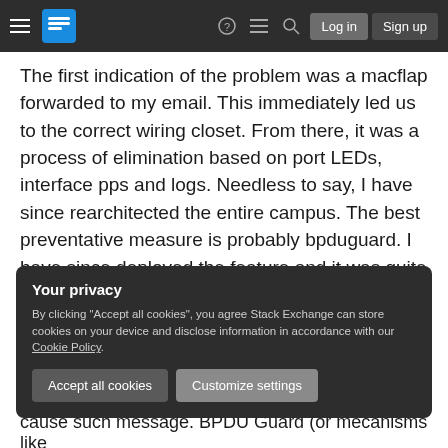Stack Exchange navigation bar with hamburger menu, logo, help, feed, search icons, Log in and Sign up buttons
The first indication of the problem was a macflap forwarded to my email. This immediately led us to the correct wiring closet. From there, it was a process of elimination based on port LEDs, interface pps and logs. Needless to say, I have since rearchitected the entire campus. The best preventative measure is probably bpduguard. I have since deployed the feature and it was quite simple. Getting that errdisable syslog in my email is nothing short of bliss.
Your privacy
By clicking "Accept all cookies", you agree Stack Exchange can store cookies on your device and disclose information in accordance with our Cookie Policy.
Accept all cookies   Customize settings
cause such message. BPDU Guard (or mecanisms like